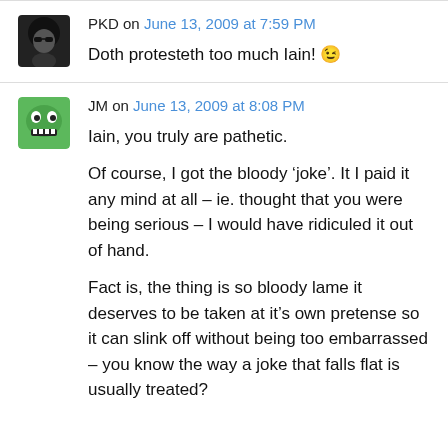PKD on June 13, 2009 at 7:59 PM
Doth protesteth too much Iain! 😉
JM on June 13, 2009 at 8:08 PM
Iain, you truly are pathetic.

Of course, I got the bloody 'joke'. It I paid it any mind at all – ie. thought that you were being serious – I would have ridiculed it out of hand.

Fact is, the thing is so bloody lame it deserves to be taken at it's own pretense so it can slink off without being too embarrassed – you know the way a joke that falls flat is usually treated?